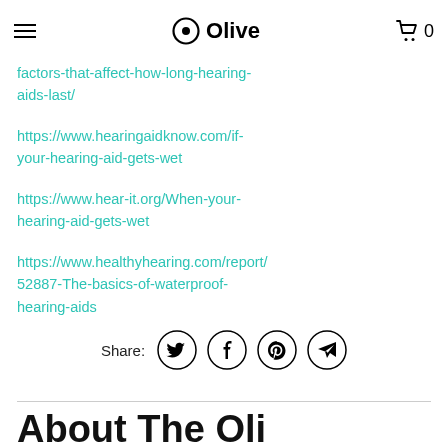Olive
factors-that-affect-how-long-hearing-aids-last/
https://www.hearingaidknow.com/if-your-hearing-aid-gets-wet
https://www.hear-it.org/When-your-hearing-aid-gets-wet
https://www.healthyhearing.com/report/52887-The-basics-of-waterproof-hearing-aids
Share:
About The Oli...